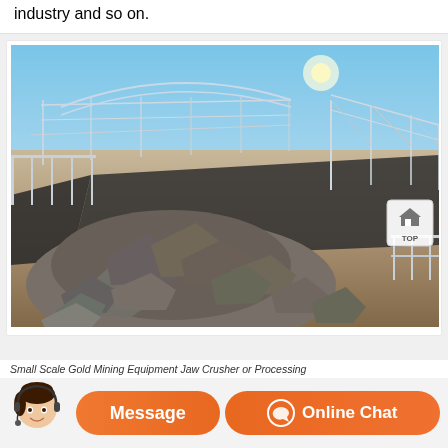industry and so on.
[Figure (photo): Outdoor mining site with large pile of rocks/ore in the foreground. Metal structural framework and scaffolding visible in the background against a blue sky. Industrial mining infrastructure setting.]
Small Scale Gold Mining Equipment Jaw Crusher or Processing
[Figure (other): Customer service chat interface with operator avatar, Message button and Online Chat button in orange.]